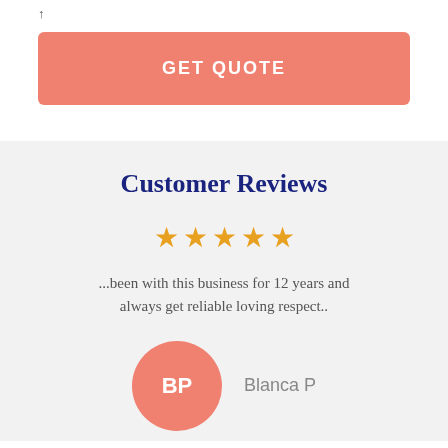...
GET QUOTE
Customer Reviews
[Figure (other): Five gold stars rating]
...been with this business for 12 years and always get reliable loving respect..
[Figure (other): Avatar circle with initials BP]
Blanca P